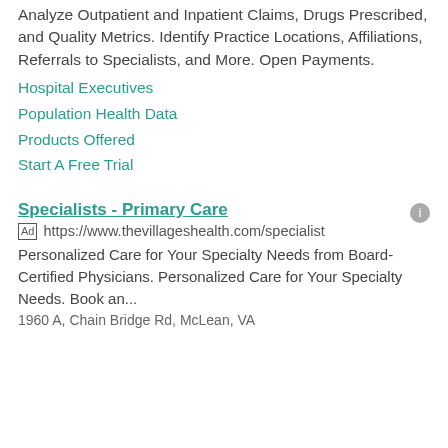Analyze Outpatient and Inpatient Claims, Drugs Prescribed, and Quality Metrics. Identify Practice Locations, Affiliations, Referrals to Specialists, and More. Open Payments.
Hospital Executives
Population Health Data
Products Offered
Start A Free Trial
Specialists - Primary Care
Ad https://www.thevillageshealth.com/specialist
Personalized Care for Your Specialty Needs from Board-Certified Physicians. Personalized Care for Your Specialty Needs. Book an...
1960 A, Chain Bridge Rd, McLean, VA